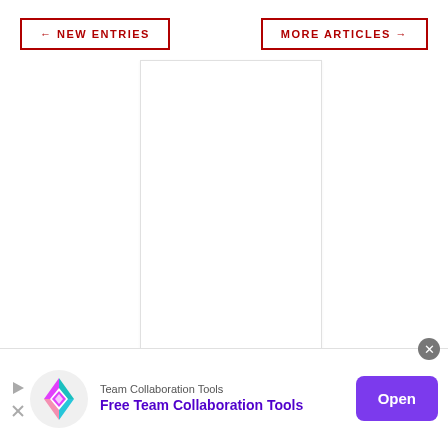← NEW ENTRIES
MORE ARTICLES →
[Figure (other): Blank white content placeholder rectangle with light border]
[Figure (infographic): Advertisement banner: Team Collaboration Tools - Free Team Collaboration Tools, with colorful diamond logo and purple Open button]